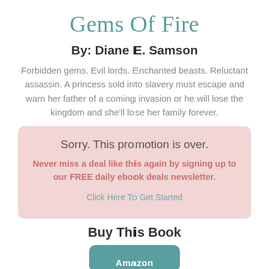Gems Of Fire
By: Diane E. Samson
Forbidden gems. Evil lords. Enchanted beasts. Reluctant assassin. A princess sold into slavery must escape and warn her father of a coming invasion or he will lose the kingdom and she'll lose her family forever.
Sorry. This promotion is over.
Never miss a deal like this again by signing up to our FREE daily ebook deals newsletter.
Click Here To Get Started
Buy This Book
Amazon